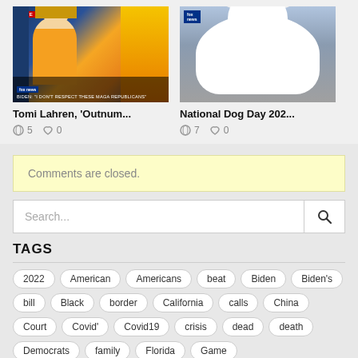[Figure (screenshot): Video thumbnail showing Tomi Lahren on Fox News, LIVE badge, text 'BIDEN: I DON'T RESPECT THESE MAGA REPUBLICANS']
Tomi Lahren, 'Outnum...
5  0
[Figure (photo): Photo of a white Samoyed dog smiling with tongue out, Fox News logo visible]
National Dog Day 202...
7  0
Comments are closed.
Search...
TAGS
2022
American
Americans
beat
Biden
Biden's
bill
Black
border
California
calls
China
Court
Covid'
Covid19
crisis
dead
death
Democrats
family
Florida
Game